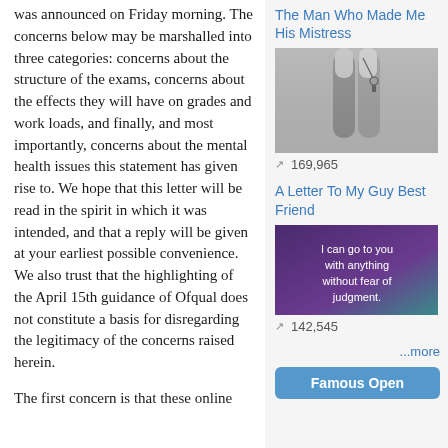was announced on Friday morning. The concerns below may be marshalled into three categories: concerns about the structure of the exams, concerns about the effects they will have on grades and work loads, and finally, and most importantly, concerns about the mental health issues this statement has given rise to. We hope that this letter will be read in the spirit in which it was intended, and that a reply will be given at your earliest possible convenience. We also trust that the highlighting of the April 15th guidance of Ofqual does not constitute a basis for disregarding the legitimacy of the concerns raised herein.
The first concern is that these online
The Man Who Made Me His Mistress
[Figure (photo): Black and white photo of a person's legs raised upward, holding a key on a chain]
169,965
A Letter To My Guy Best Friend
[Figure (photo): Purple and teal background with text: I can go to you with anything without fear of judgment.]
142,545
...more
Famous Open